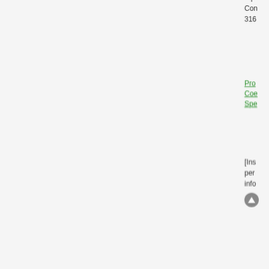rep
Con
316
Pro
Coe
Spe
[Ins
per
info
[Figure (illustration): Forum post card with pentagram avatar for user Big Jim P, Khan of Spam. Posts: 54964, Founded: Antiquity Left-Leaning College State. QUOTE button visible top right with timestamp Thu May 30, 2013 12:03 pm.]
by Big Jim P » Thu May 30, 2013 12:03 pm
Big Jim P
Khan of Spam
Posts: 54964
Founded: Antiquity Left-Leaning College State